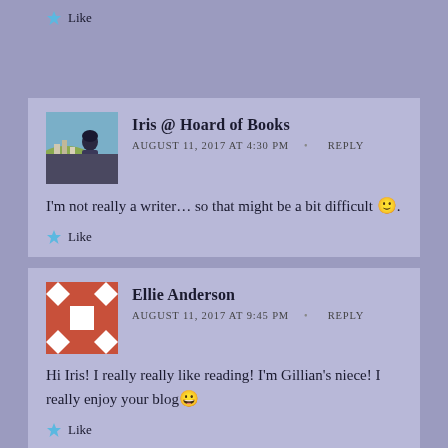Like
Iris @ Hoard of Books
AUGUST 11, 2017 AT 4:30 PM • REPLY
I'm not really a writer... so that might be a bit difficult 🙂.
Like
Ellie Anderson
AUGUST 11, 2017 AT 9:45 PM • REPLY
Hi Iris! I really really like reading! I'm Gillian's niece! I really enjoy your blog 😀
Like